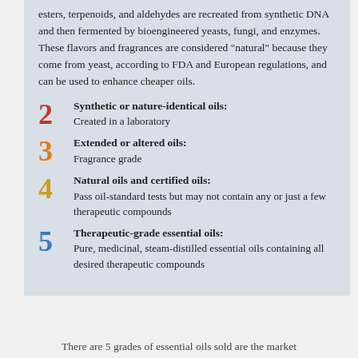[Figure (infographic): Infographic panel on a light blue-grey background listing 5 grades of essential oils. Includes introductory text about esters, terpenoids, and aldehydes recreated from synthetic DNA and fermented by bioengineered yeasts, fungi, and enzymes, considered natural by FDA and European regulations. Followed by numbered items 2-5 with colored numerals: 2 (red) Synthetic or nature-identical oils: Created in a laboratory; 3 (orange) Extended or altered oils: Fragrance grade; 4 (yellow) Natural oils and certified oils: Pass oil-standard tests but may not contain any or just a few therapeutic compounds; 5 (blue) Therapeutic-grade essential oils: Pure, medicinal, steam-distilled essential oils containing all desired therapeutic compounds.]
There are 5 grades of essential oils sold are the market